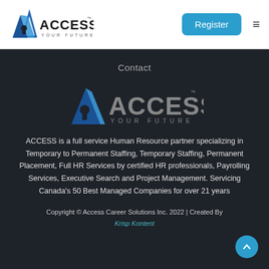[Figure (logo): ACCESS YOUR FUTURE logo with blue triangle/keyhole icon and bold text]
Register
Contact
[Figure (logo): ACCESS YOUR FUTURE logo centered on dark background]
ACCESS is a full service Human Resource partner specializing in Temporary to Permanent Staffing, Temporary Staffing, Permanent Placement, Full HR Services by certified HR professionals, Payrolling Services, Executive Search and Project Management. Servicing Canada's 50 Best Managed Companies for over 21 years
Copyright © Access Career Solutions Inc. 2022 | Created By Krisp Kontent